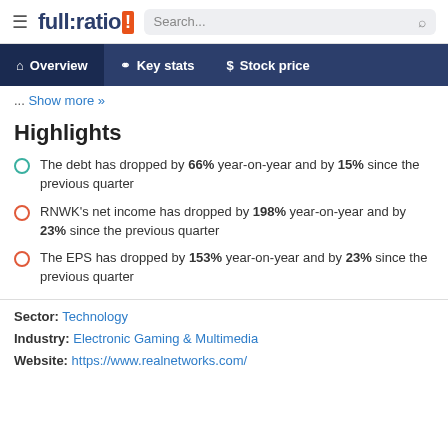full:ratio | Search...
Overview | Key stats | Stock price
... Show more »
Highlights
The debt has dropped by 66% year-on-year and by 15% since the previous quarter
RNWK's net income has dropped by 198% year-on-year and by 23% since the previous quarter
The EPS has dropped by 153% year-on-year and by 23% since the previous quarter
Sector: Technology
Industry: Electronic Gaming & Multimedia
Website: https://www.realnetworks.com/